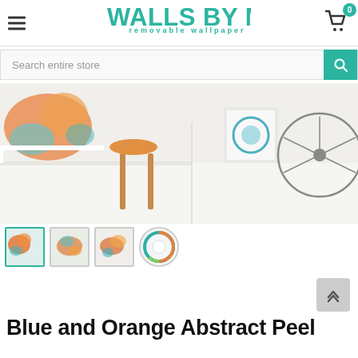Walls By Me – removable wallpaper
[Figure (screenshot): E-commerce product page for Walls By Me removable wallpaper showing a room interior with a chair and bicycle, along with product thumbnail images and a search bar]
Blue and Orange Abstract Peel